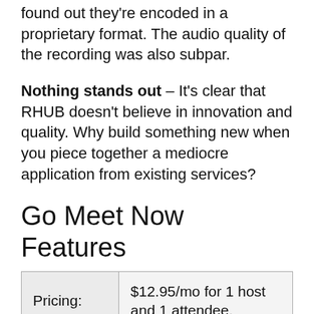found out they're encoded in a proprietary format. The audio quality of the recording was also subpar.
Nothing stands out – It's clear that RHUB doesn't believe in innovation and quality. Why build something new when you piece together a mediocre application from existing services?
Go Meet Now Features
| Pricing: | $12.95/mo for 1 host and 1 attendee. |
| Mobile Clients: | No |